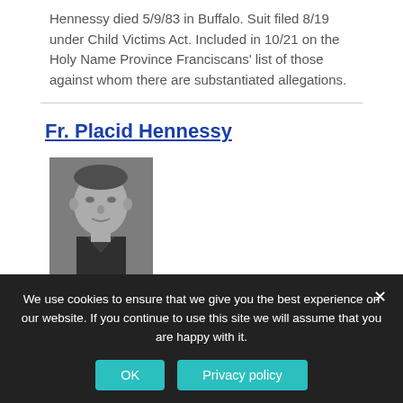Hennessy died 5/9/83 in Buffalo. Suit filed 8/19 under Child Victims Act. Included in 10/21 on the Holy Name Province Franciscans' list of those against whom there are substantiated allegations.
Fr. Placid Hennessy
[Figure (photo): Black and white portrait photograph of Fr. Placid Hennessy]
We use cookies to ensure that we give you the best experience on our website. If you continue to use this site we will assume that you are happy with it.